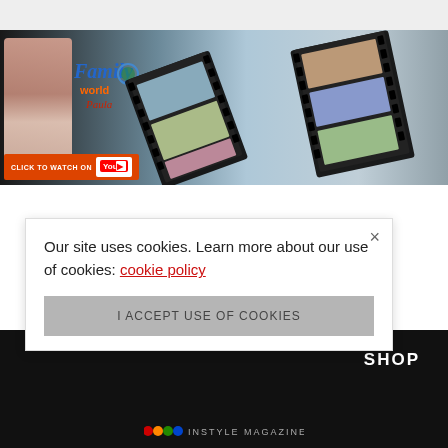[Figure (screenshot): Family World with Paula YouTube banner with film strip design, woman on left, colorful film reel images, orange YouTube button at bottom left saying CLICK TO WATCH ON YouTube]
[Figure (other): Blue loading spinner arc in white area below banner]
Our site uses cookies. Learn more about our use of cookies: cookie policy
I ACCEPT USE OF COOKIES
SHOP
[Figure (logo): Instyle magazine logo at bottom of black footer bar]